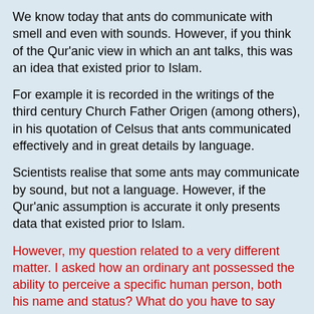We know today that ants do communicate with smell and even with sounds. However, if you think of the Qur'anic view in which an ant talks, this was an idea that existed prior to Islam.
For example it is recorded in the writings of the third century Church Father Origen (among others), in his quotation of Celsus that ants communicated effectively and in great details by language.
Scientists realise that some ants may communicate by sound, but not a language. However, if the Qur'anic assumption is accurate it only presents data that existed prior to Islam.
However, my question related to a very different matter. I asked how an ordinary ant possessed the ability to perceive a specific human person, both his name and status? What do you have to say about that?
Date: Wed, 7 July, 2010 13:18